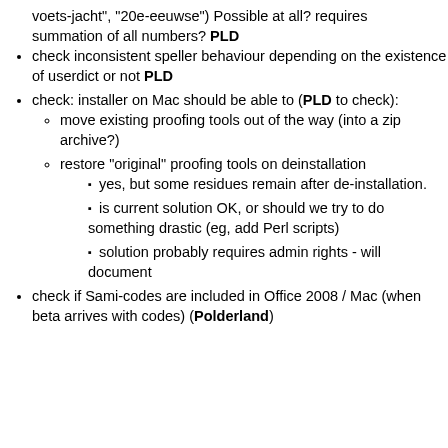voets-jacht", "20e-eeuwse") Possible at all? requires summation of all numbers? PLD
check inconsistent speller behaviour depending on the existence of userdict or not PLD
check: installer on Mac should be able to (PLD to check):
move existing proofing tools out of the way (into a zip archive?)
restore "original" proofing tools on deinstallation
yes, but some residues remain after de-installation.
is current solution OK, or should we try to do something drastic (eg, add Perl scripts)
solution probably requires admin rights - will document
check if Sami-codes are included in Office 2008 / Mac (when beta arrives with codes) (Polderland)